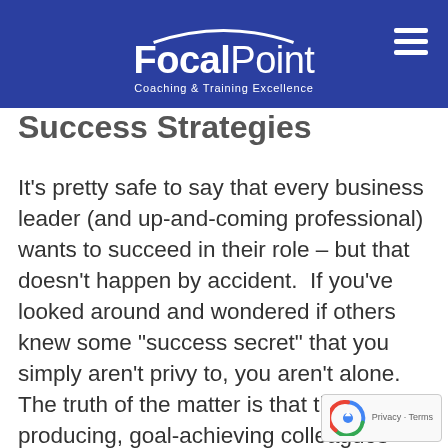[Figure (logo): FocalPoint Coaching & Training Excellence logo on dark blue header bar with hamburger menu icon]
Success Strategies
It’s pretty safe to say that every business leader (and up-and-coming professional) wants to succeed in their role – but that doesn’t happen by accident.  If you’ve looked around and wondered if others knew some “success secret” that you simply aren’t privy to, you aren’t alone. The truth of the matter is that those high-producing, goal-achieving colleagues have likely put a great deal of thought i their success strategies. Getting Starte The 7 Success Principles In a recent post,